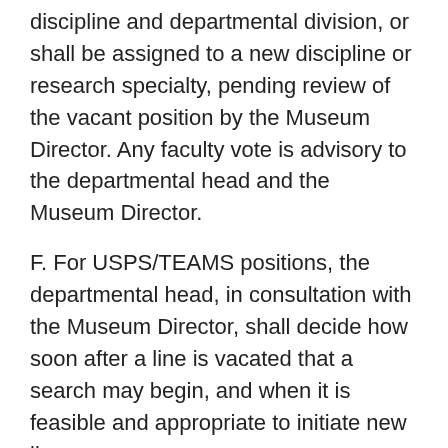discipline and departmental division, or shall be assigned to a new discipline or research specialty, pending review of the vacant position by the Museum Director. Any faculty vote is advisory to the departmental head and the Museum Director.
F. For USPS/TEAMS positions, the departmental head, in consultation with the Museum Director, shall decide how soon after a line is vacated that a search may begin, and when it is feasible and appropriate to initiate new lines.
G. In the Department of Natural History, the faculty shall vote by two-thirds majority as to whether a vacated USPS/TEAMS line shall be retained within the same or related discipline and departmental division, or shall be assigned to a new discipline or research specialty, taking into consideration long and short-term priorities as identified in strategic planning. The